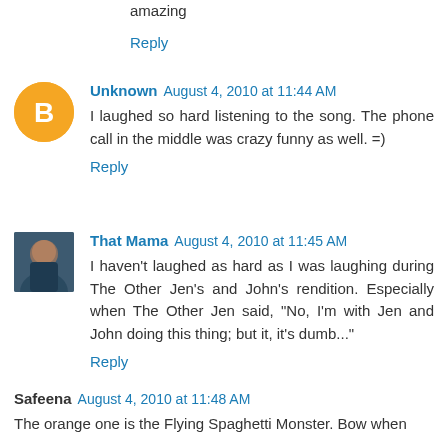amazing
Reply
Unknown  August 4, 2010 at 11:44 AM
I laughed so hard listening to the song. The phone call in the middle was crazy funny as well. =)
Reply
That Mama  August 4, 2010 at 11:45 AM
I haven't laughed as hard as I was laughing during The Other Jen's and John's rendition. Especially when The Other Jen said, "No, I'm with Jen and John doing this thing; but it, it's dumb..."
Reply
Safeena  August 4, 2010 at 11:48 AM
The orange one is the Flying Spaghetti Monster. Bow when